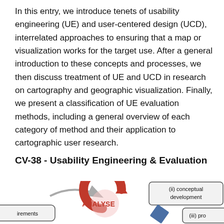In this entry, we introduce tenets of usability engineering (UE) and user-centered design (UCD), interrelated approaches to ensuring that a map or visualization works for the target use. After a general introduction to these concepts and processes, we then discuss treatment of UE and UCD in research on cartography and geographic visualization. Finally, we present a classification of UE evaluation methods, including a general overview of each category of method and their application to cartographic user research.
CV-38 - Usability Engineering & Evaluation
[Figure (flowchart): Partial view of a usability engineering cycle diagram showing: a curved grey arrow pointing right, a red circular 'ANALYSE' arrow element, a box labeled '(ii) conceptual development' in the upper right, a rounded rectangle labeled 'irements' (requirements, partially visible) in the lower left, a blue diamond shape, and a partially visible box labeled '(iii) pro...' in the lower right.]